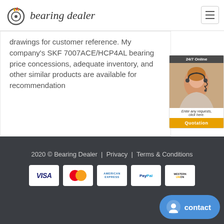bearing dealer
drawings for customer reference. My company's SKF 7007ACE/HCP4AL bearing price concessions, adequate inventory, and other similar products are available for recommendation
[Figure (photo): 24/7 Online customer support representative with headset, with caption 'Enter any requests, click here.' and Quotation button]
2020 © Bearing Dealer  |  Privacy  |  Terms & Conditions